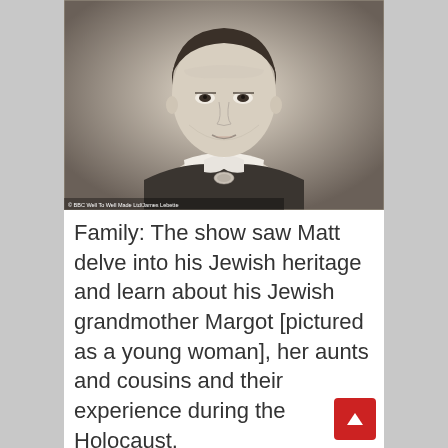[Figure (photo): Black and white / sepia portrait photograph of a young woman (Margot), shown from the shoulders up, wearing a white blouse with a brooch/pin at the collar, dark jacket. Watermark at bottom reads: BBC Well To Well Made Ltd/James Lebette]
Family: The show saw Matt delve into his Jewish heritage and learn about his Jewish grandmother Margot [pictured as a young woman], her aunts and cousins and their experience during the Holocaust.
Anne died of typhus at Bergen-Belsen concentration camp in February 1945,